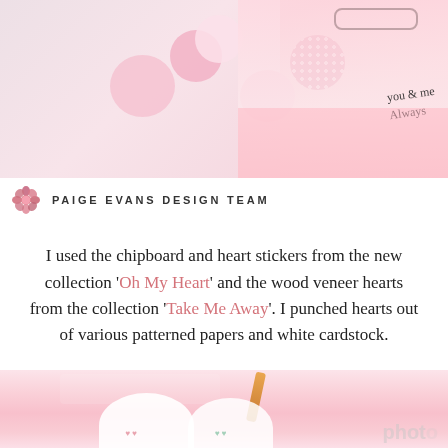[Figure (photo): Top photo showing craft project with pink hearts, patterned paper heart stickers, and a smiling woman in pink with handwriting 'You & Me Always']
PAIGE EVANS DESIGN TEAM
I used the chipboard and heart stickers from the new collection 'Oh My Heart' and the wood veneer hearts from the collection 'Take Me Away'. I punched hearts out of various patterned papers and white cardstock.
[Figure (photo): Bottom close-up photo showing hands working on heart craft project with white heart-shaped paper pieces decorated with small colorful hearts, with photobucket watermark visible]